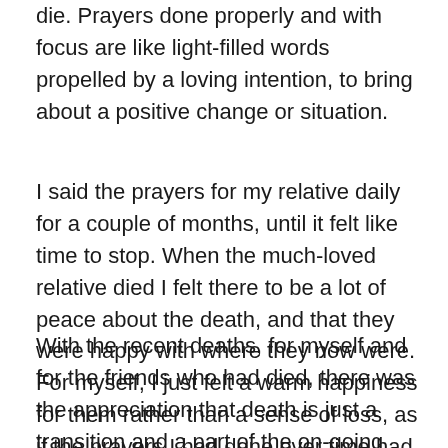die. Prayers done properly and with focus are like light-filled words propelled by a loving intention, to bring about a positive change or situation.
I said the prayers for my relative daily for a couple of months, until it felt like time to stop. When the much-loved relative died I felt there to be a lot of peace about the death, and that they were happy with where they now were. For myself, I just felt a warm happiness for them rather than a sense of loss, as if the prayers I had done over time had worked on me, too.
With the recent deaths, for myself and for the friends who had died, there was the appreciation that death is just a transition and a part of the on-going journey of Life. We also held the concept of reincarnation, so we knew we had had many lives, and there were more to come, and we